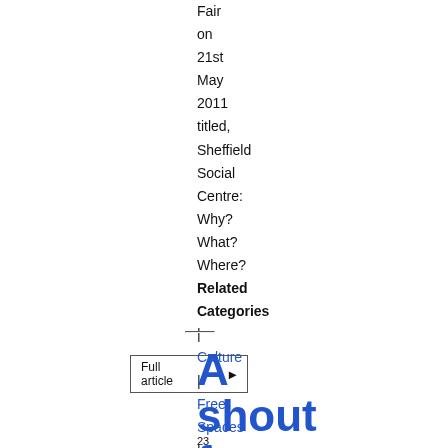Fair on 21st May 2011 titled, Sheffield Social Centre: Why? What? Where? Related Categories | Culture | Free Spaces | Sheffield
Full article ▶
A shout from Spain
23